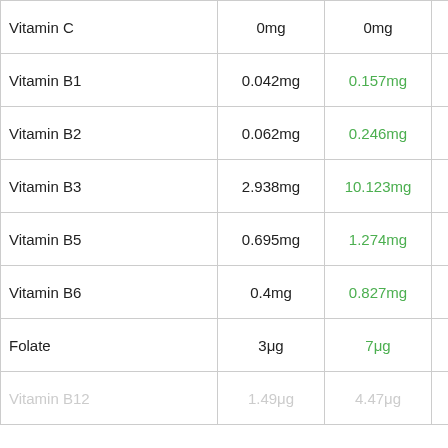| Nutrient | Value 1 | Value 2 | Icon |
| --- | --- | --- | --- |
| Vitamin C | 0mg | 0mg |  |
| Vitamin B1 | 0.042mg | 0.157mg | [fish icon] |
| Vitamin B2 | 0.062mg | 0.246mg | [fish icon] |
| Vitamin B3 | 2.938mg | 10.123mg | [fish icon] |
| Vitamin B5 | 0.695mg | 1.274mg | [fish icon] |
| Vitamin B6 | 0.4mg | 0.827mg | [fish icon] |
| Folate | 3μg | 7μg | [fish icon] |
| Vitamin B12 | 1.49μg | 4.47μg | [fish icon faded] |